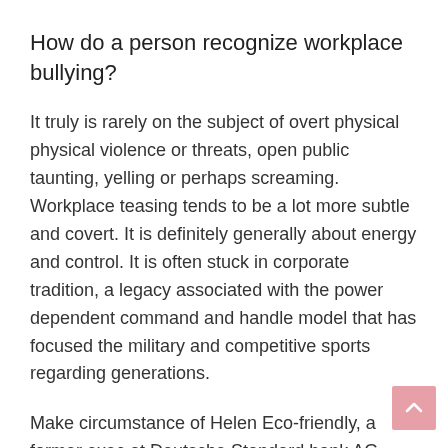How do a person recognize workplace bullying?
It truly is rarely on the subject of overt physical physical violence or threats, open public taunting, yelling or perhaps screaming. Workplace teasing tends to be a lot more subtle and covert. It is definitely generally about energy and control. It is often stuck in corporate tradition, a legacy associated with the power dependent command and handle model that has focused the military and competitive sports regarding generations.
Make circumstance of Helen Eco-friendly, a former exec at Deutsche Standard bank AG.